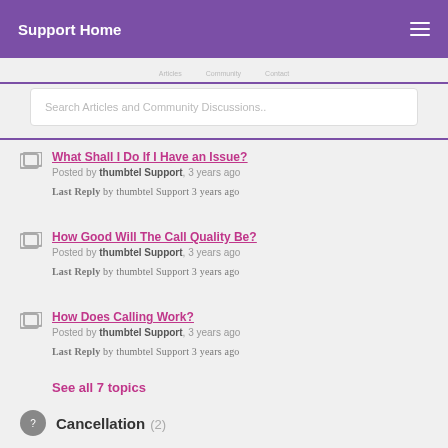Support Home
Search Articles and Community Discussions..
What Shall I Do If I Have an Issue? Posted by thumbtel Support, 3 years ago. Last Reply by thumbtel Support 3 years ago
How Good Will The Call Quality Be? Posted by thumbtel Support, 3 years ago. Last Reply by thumbtel Support 3 years ago
How Does Calling Work? Posted by thumbtel Support, 3 years ago. Last Reply by thumbtel Support 3 years ago
See all 7 topics
Cancellation (2)